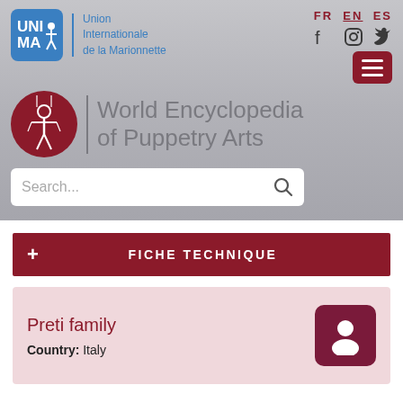[Figure (logo): UNIMA logo — blue rounded square with UNI MA text and puppet figure, next to 'Union Internationale de la Marionnette' in blue text]
FR  EN  ES
[Figure (logo): Social media icons: Facebook, Instagram, Twitter]
[Figure (logo): World Encyclopedia of Puppetry Arts logo — dark red circle with puppet marionette figure, followed by title text]
Search...
FICHE TECHNIQUE
Preti family
Country: Italy